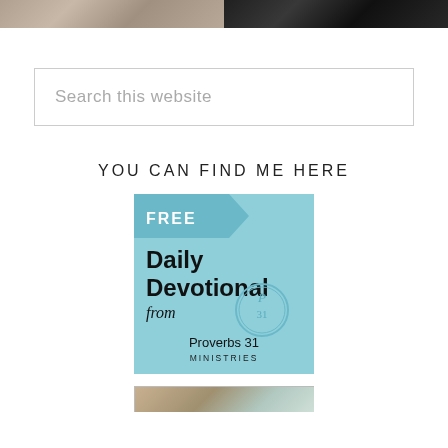[Figure (photo): Two partial photos side by side at top: left is a warm-toned photo (person/scene), right is a dark-toned photo (dark scene)]
Search this website
YOU CAN FIND ME HERE
[Figure (illustration): Advertisement banner for FREE Daily Devotional from Proverbs 31 Ministries. Light blue background with a ribbon banner saying FREE, large bold text Daily Devotional, italic from, and a circular P31 logo with Proverbs 31 Ministries text below.]
[Figure (photo): Partial bottom image, partially visible, appears to be a decorative/lifestyle photo]